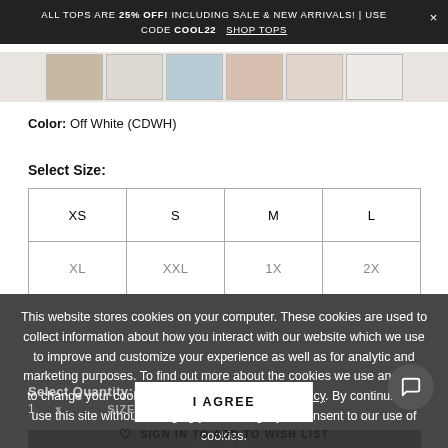ALL TOPS ARE 25% OFF! INCLUDING SALE & NEW ARRIVALS! | USE CODE COOL22   SHOP TOPS
[Figure (photo): Row of product thumbnail images showing clothing items in various colors]
Color: Off White (CDWH)
Select Size:
| XS | S | M | L |
| XL | XXL | 1X | 2X |
This website stores cookies on your computer. These cookies are used to collect information about how you interact with our website which we use to improve and customize your experience as well as for analytic and marketing purposes. To find out more about the cookies we use and how to change your cookie settings, see our Privacy Policy. By continuing to use this site without changing your settings, you consent to our use of cookies.
Select Quantity:
1   SIZE CHART
I AGREE
SIGN IN TO ADD TO WISH LIST